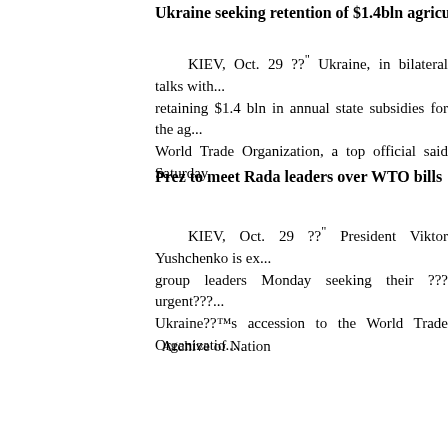Ukraine seeking retention of $1.4bln agriculture sub...
KIEV, Oct. 29 ??" Ukraine, in bilateral talks with... retaining $1.4 bln in annual state subsidies for the ag... World Trade Organization, a top official said Saturday.
Prez to meet Rada leaders over WTO bills
KIEV, Oct. 29 ??" President Viktor Yushchenko is ex... group leaders Monday seeking their ???urgent???... Ukraine??™s accession to the World Trade Organizatio...
Archive of Nation